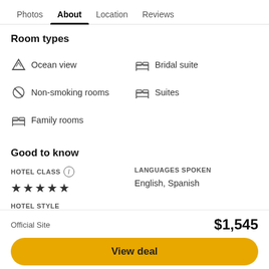Photos  About  Location  Reviews
Room types
Ocean view
Bridal suite
Non-smoking rooms
Suites
Family rooms
Good to know
HOTEL CLASS ⓘ — ★★★★★
LANGUAGES SPOKEN — English, Spanish
HOTEL STYLE — Family — Business
Official Site   $1,545
View deal